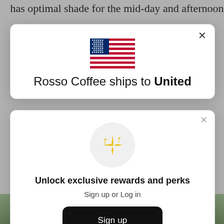has optimal shade for the mid-day and afternoon
[Figure (screenshot): Modal dialog with US flag and text 'Rosso Coffee ships to United']
[Figure (infographic): Loyalty rewards modal with sparkle icon, 'Unlock exclusive rewards and perks', Sign up or Log in, Sign up button, and Already have an account? Sign in link]